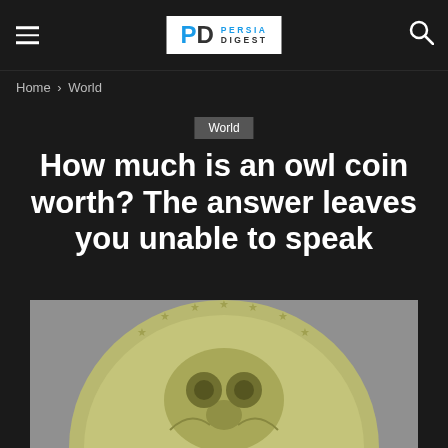PERSIA DIGEST
Home › World
World
How much is an owl coin worth? The answer leaves you unable to speak
[Figure (photo): Close-up photograph of an owl coin, a metal coin with an owl design, stars around the border, set against a grey background]